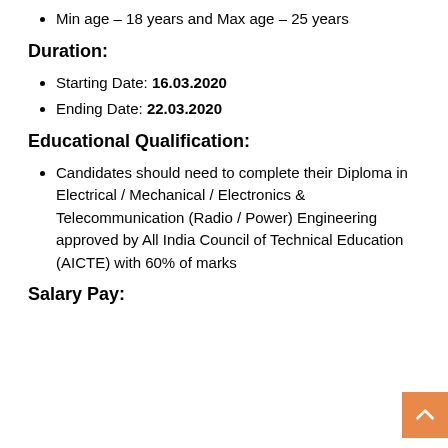Min age – 18 years and Max age – 25 years
Duration:
Starting Date: 16.03.2020
Ending Date: 22.03.2020
Educational Qualification:
Candidates should need to complete their Diploma in Electrical / Mechanical / Electronics & Telecommunication (Radio / Power) Engineering approved by All India Council of Technical Education (AICTE) with 60% of marks
Salary Pay: